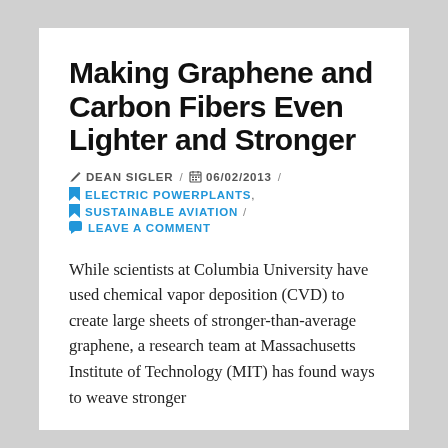Making Graphene and Carbon Fibers Even Lighter and Stronger
✏ DEAN SIGLER / 📅 06/02/2013 / 🔖 ELECTRIC POWERPLANTS, 🔖 SUSTAINABLE AVIATION / 💬 LEAVE A COMMENT
While scientists at Columbia University have used chemical vapor deposition (CVD) to create large sheets of stronger-than-average graphene, a research team at Massachusetts Institute of Technology (MIT) has found ways to weave stronger